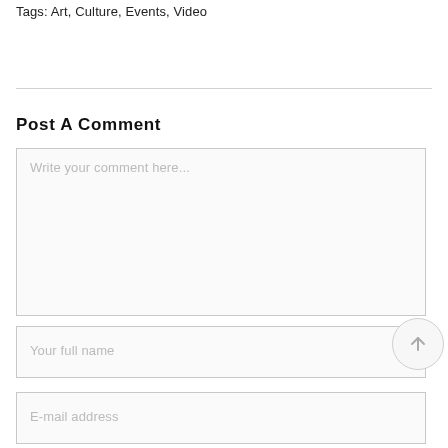Tags: Art, Culture, Events, Video
Post A Comment
Write your comment here...
Your full name
E-mail address